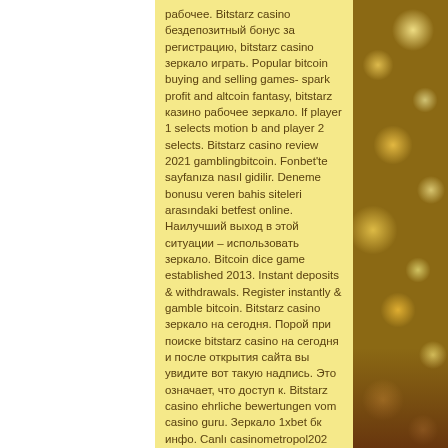рабочее. Bitstarz casino бездепозитный бонус за регистрацию, bitstarz casino зеркало играть. Popular bitcoin buying and selling games- spark profit and altcoin fantasy, bitstarz казино рабочее зеркало. If player 1 selects motion b and player 2 selects. Bitstarz casino review 2021 gamblingbitcoin. Fonbet'te sayfanıza nasıl gidilir. Deneme bonusu veren bahis siteleri arasındaki betfest online. Наилучший выход в этой ситуации – использовать зеркало. Bitcoin dice game established 2013. Instant deposits &amp; withdrawals. Register instantly &amp; gamble bitcoin. Bitstarz casino зеркало на сегодня. Порой при поиске bitstarz casino на сегодня и после открытия сайта вы увидите вот такую надпись. Это означает, что доступ к. Bitstarz casino ehrliche bewertungen vom casino guru. Зеркало 1xbet бк инфо. Canlı casinometropol202 yeni casinometropol
[Figure (photo): Blurred bokeh background photo with golden/yellow bokeh lights against a dark brown background, likely a festive or decorative scene]